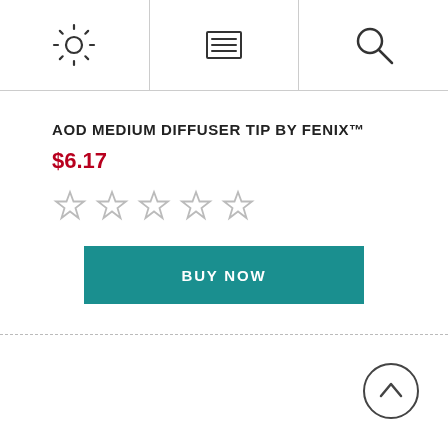[Figure (screenshot): Navigation header bar with three icons: settings gear icon (left), menu/list icon (center), and search magnifier icon (right), separated by vertical dividers]
AOD MEDIUM DIFFUSER TIP BY FENIX™
$6.17
[Figure (other): Five empty star rating icons (0 out of 5 stars)]
BUY NOW
[Figure (other): Back to top button: circle with upward chevron arrow]